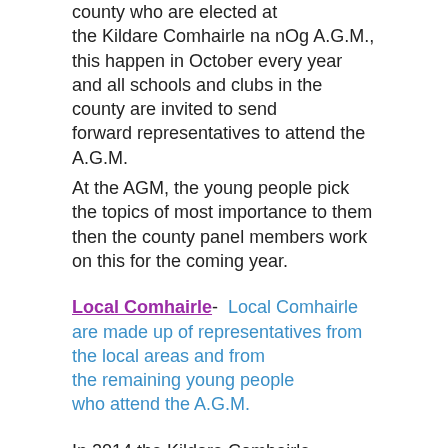county who are elected at the Kildare Comhairle na nOg A.G.M., this happen in October every year and all schools and clubs in the county are invited to send forward representatives to attend the A.G.M. At the AGM, the young people pick the topics of most importance to them then the county panel members work on this for the coming year.
Local Comhairle- Local Comhairle are made up of representatives from the local areas and from the remaining young people who attend the A.G.M.
In 2014 the Kildare Comhairle County Panel worked on a positive mental health promotion focused around peer support for each other in schools,clubs and every day life. the